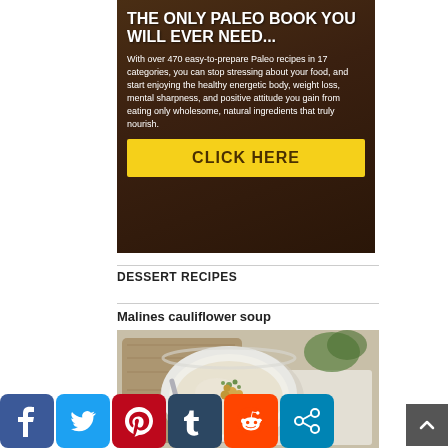[Figure (infographic): Dark brown wood background advertisement for a Paleo book. Title reads 'THE ONLY PALEO BOOK YOU WILL EVER NEED...' with descriptive body text and a yellow CLICK HERE button.]
DESSERT RECIPES
Malines cauliflower soup
[Figure (photo): Top-down photo of a white bowl of cream soup garnished with herbs and croutons, on a wooden board with a napkin.]
[Figure (infographic): Social media share buttons: Facebook (blue), Twitter (light blue), Pinterest (red), Tumblr (dark teal), Reddit (orange), Share (blue)]